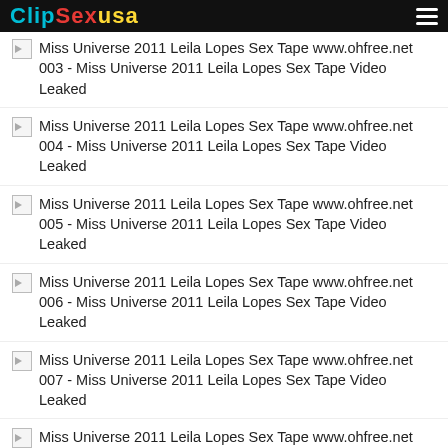ClipSexUSA
Miss Universe 2011 Leila Lopes Sex Tape www.ohfree.net 003 - Miss Universe 2011 Leila Lopes Sex Tape Video Leaked
Miss Universe 2011 Leila Lopes Sex Tape www.ohfree.net 004 - Miss Universe 2011 Leila Lopes Sex Tape Video Leaked
Miss Universe 2011 Leila Lopes Sex Tape www.ohfree.net 005 - Miss Universe 2011 Leila Lopes Sex Tape Video Leaked
Miss Universe 2011 Leila Lopes Sex Tape www.ohfree.net 006 - Miss Universe 2011 Leila Lopes Sex Tape Video Leaked
Miss Universe 2011 Leila Lopes Sex Tape www.ohfree.net 007 - Miss Universe 2011 Leila Lopes Sex Tape Video Leaked
Miss Universe 2011 Leila Lopes Sex Tape www.ohfree.net 008 - Miss Universe 2011 Leila Lopes Sex Tape Video Leaked
Miss Universe 2011 Leila Lopes Sex Tape www.ohfree.net 009 - Miss Universe 2011 Leila Lopes Sex Tape Video Leaked
Miss Universe 2011 Leila Lopes Sex Tape www.ohfree.net 010 - Miss Universe 2011 Leila Lopes Sex Tape Video Leaked